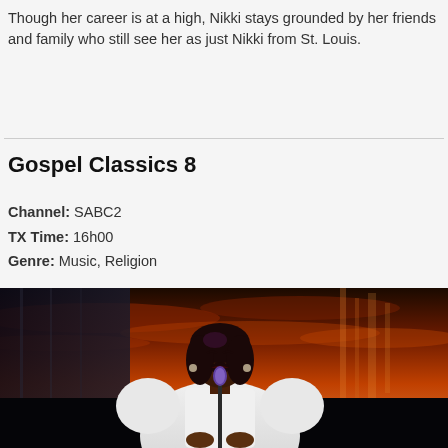Though her career is at a high, Nikki stays grounded by her friends and family who still see her as just Nikki from St. Louis.
Gospel Classics 8
Channel: SABC2
TX Time: 16h00
Genre: Music, Religion
[Figure (photo): A woman in a white dress singing into a purple microphone on stage, with a dramatic red and orange cloudy sky backdrop and dark curtains behind her.]